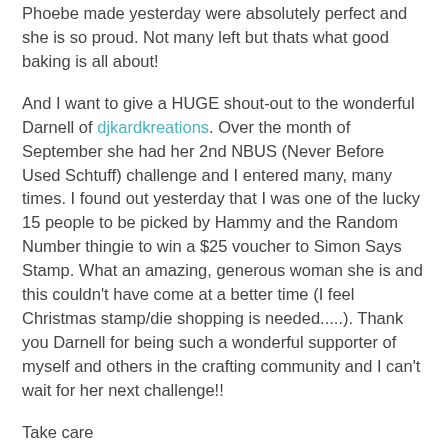Phoebe made yesterday were absolutely perfect and she is so proud. Not many left but thats what good baking is all about!
And I want to give a HUGE shout-out to the wonderful Darnell of djkardkreations. Over the month of September she had her 2nd NBUS (Never Before Used Schtuff) challenge and I entered many, many times. I found out yesterday that I was one of the lucky 15 people to be picked by Hammy and the Random Number thingie to win a $25 voucher to Simon Says Stamp. What an amazing, generous woman she is and this couldn't have come at a better time (I feel Christmas stamp/die shopping is needed.....). Thank you Darnell for being such a wonderful supporter of myself and others in the crafting community and I can't wait for her next challenge!!
Take care
Shona
Shona Chambers at 21:45   17 comments: